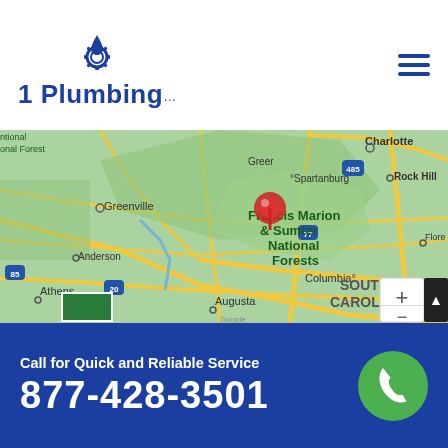[Figure (logo): 1 Plumbing logo with blue water drop and gear icon above text]
[Figure (map): Google Maps screenshot showing South Carolina and surrounding region with a red location pin dropped on Francis Marion & Sumter National Forests area. Visible cities: Charlotte, Rock Hill, Spartanburg, Greer, Greenville, Anderson, Athens, Columbia, Augusta, Florence. Road markers: 485, 77, 20, 26, 95.]
Call for Quick and Reliable Service
877-428-3501